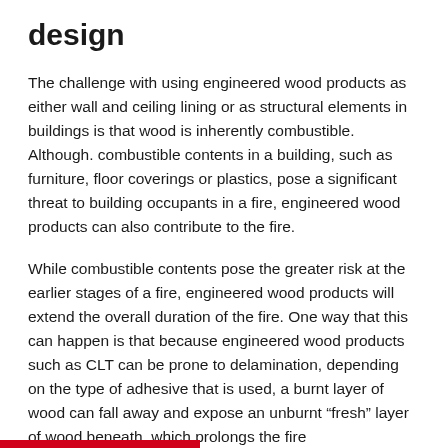design
The challenge with using engineered wood products as either wall and ceiling lining or as structural elements in buildings is that wood is inherently combustible. Although. combustible contents in a building, such as furniture, floor coverings or plastics, pose a significant threat to building occupants in a fire, engineered wood products can also contribute to the fire.
While combustible contents pose the greater risk at the earlier stages of a fire, engineered wood products will extend the overall duration of the fire. One way that this can happen is that because engineered wood products such as CLT can be prone to delamination, depending on the type of adhesive that is used, a burnt layer of wood can fall away and expose an unburnt "fresh" layer of wood beneath, which prolongs the fire